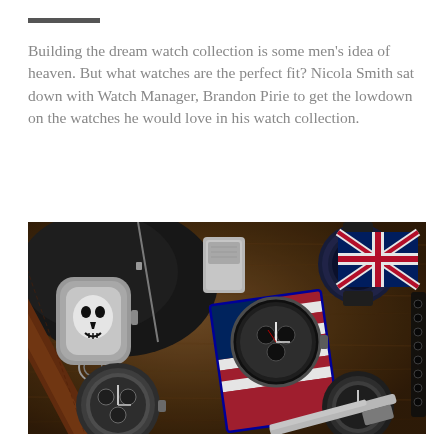Building the dream watch collection is some men's idea of heaven. But what watches are the perfect fit? Nicola Smith sat down with Watch Manager, Brandon Pirie to get the lowdown on the watches he would love in his watch collection.
[Figure (photo): Flat-lay photo on wooden table showing multiple luxury watches including a skull-faced watch with brown leather strap, a watch displayed on an American flag case, a dark chronograph watch, and other timepieces, alongside a Zippo lighter and other accessories on a dark leather jacket.]